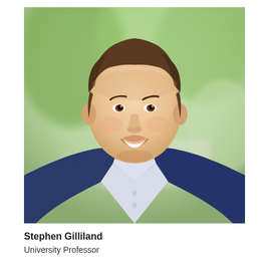[Figure (photo): Professional headshot of Stephen Gilliland, a middle-aged man with dark hair wearing a navy blue blazer and open-collar light blue shirt, smiling, photographed outdoors with blurred green trees in the background.]
Stephen Gilliland
University Professor